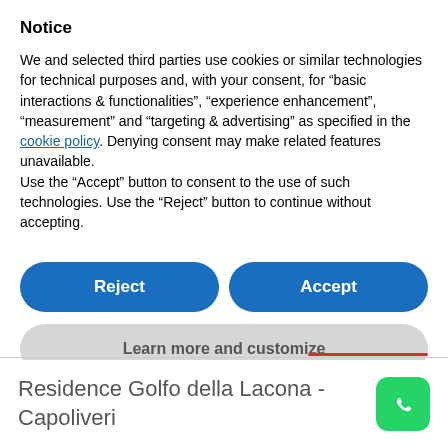Notice
We and selected third parties use cookies or similar technologies for technical purposes and, with your consent, for “basic interactions & functionalities”, “experience enhancement”, “measurement” and “targeting & advertising” as specified in the cookie policy. Denying consent may make related features unavailable.
Use the “Accept” button to consent to the use of such technologies. Use the “Reject” button to continue without accepting.
Reject
Accept
Learn more and customize
Residence Golfo della Lacona - Capoliveri